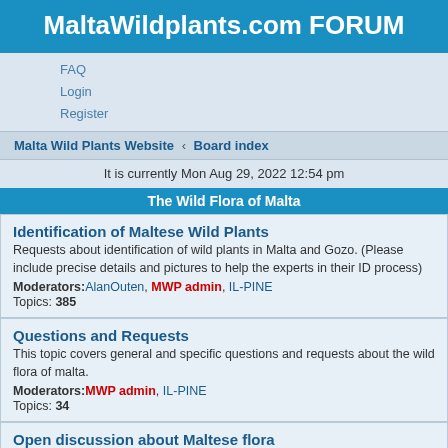MaltaWildplants.com FORUM
FAQ
Login
Register
Malta Wild Plants Website · Board index
It is currently Mon Aug 29, 2022 12:54 pm
The Wild Flora of Malta
Identification of Maltese Wild Plants
Requests about identification of wild plants in Malta and Gozo. (Please include precise details and pictures to help the experts in their ID process)
Moderators: AlanOuten, MWP admin, IL-PINE
Topics: 385
Questions and Requests
This topic covers general and specific questions and requests about the wild flora of malta.
Moderators: MWP admin, IL-PINE
Topics: 34
Open discussion about Maltese flora
Post anything you like about the flora of the Maltese islands.
Moderators: MWP admin, IL-PINE
Topics: 91
Bryophytes
Discussion about Mosses, Liverworts (and Hornworts).
Moderators: MWP admin, IL-PINE
Topics: 12